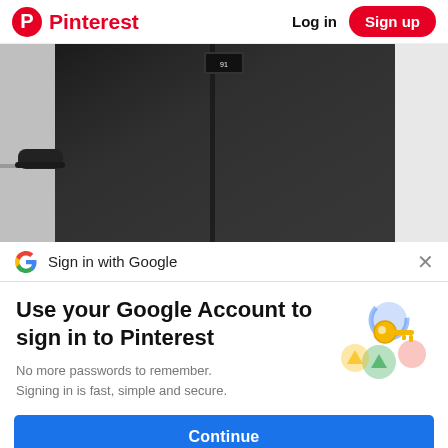Pinterest  Log in  Sign up
[Figure (photo): Person wearing a dark/black jacket photographed from torso down, showing a label on the back collar, against a white room background with a small shelf visible]
Sign in with Google
Use your Google Account to sign in to Pinterest
No more passwords to remember. Signing in is fast, simple and secure.
[Figure (illustration): Google sign-in illustration showing a golden key with colorful circular badges/icons]
Continue